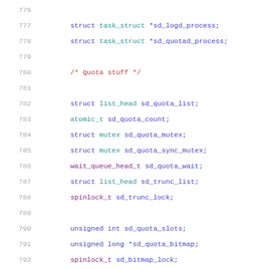776-797: C source code listing showing struct fields for task_struct pointers, quota and log related fields
776  (blank)
777      struct task_struct *sd_logd_process;
778      struct task_struct *sd_quotad_process;
779  (blank)
780      /* Quota stuff */
781  (blank)
782      struct list_head sd_quota_list;
783      atomic_t sd_quota_count;
784      struct mutex sd_quota_mutex;
785      struct mutex sd_quota_sync_mutex;
786      wait_queue_head_t sd_quota_wait;
787      struct list_head sd_trunc_list;
788      spinlock_t sd_trunc_lock;
789  (blank)
790      unsigned int sd_quota_slots;
791      unsigned long *sd_quota_bitmap;
792      spinlock_t sd_bitmap_lock;
793  (blank)
794      u64 sd_quota_sync_gen;
795  (blank)
796      /* Log stuff */
797  (blank)